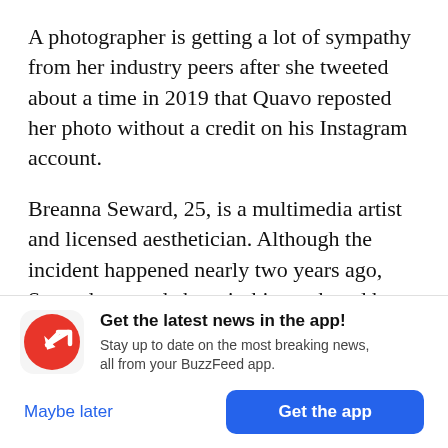A photographer is getting a lot of sympathy from her industry peers after she tweeted about a time in 2019 that Quavo reposted her photo without a credit on his Instagram account.
Breanna Seward, 25, is a multimedia artist and licensed aesthetician. Although the incident happened nearly two years ago, Seward tweeted about it this week and her tweet quickly went viral.
"I wonder how many bookings I would have got if
[Figure (infographic): BuzzFeed app promotion banner with red circular logo containing a white upward arrow, title 'Get the latest news in the app!', subtitle 'Stay up to date on the most breaking news, all from your BuzzFeed app.' with 'Maybe later' and 'Get the app' buttons.]